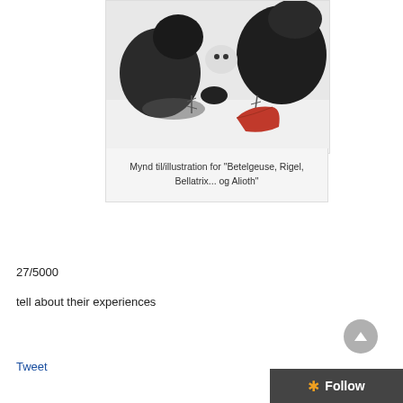[Figure (photo): Black and white photo of monkeys with a red object on snow, used as illustration for a book]
Mynd til/illustration for "Betelgeuse, Rigel, Bellatrix... og Alioth"
27/5000
tell about their experiences
Tweet